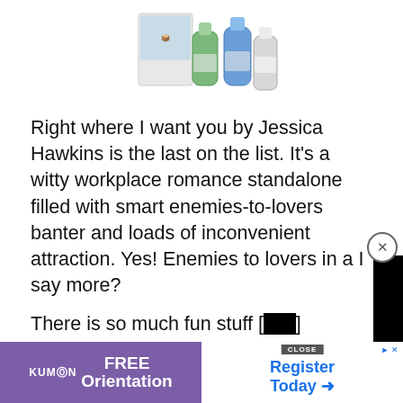[Figure (photo): Product image of travel-size squeeze bottles/containers in blue, green, and white with a box in the background]
Right where I want you by Jessica Hawkins is the last on the list. It’s a witty workplace romance standalone filled with smart enemies-to-lovers banter and loads of inconvenient attraction. Yes! Enemies to lovers in a [obscured] I say more?
[Figure (screenshot): Black video player overlay covering part of the text]
There is so much fun stuff [obscured] romantic audio-book in parallel to the seriousness of the plot and relationship development. Georgina Keller and Sebastian Quinn actually meet firsthand before [obscured]
[Figure (screenshot): Advertisement banner: Kumon FREE Orientation on the left (purple), Register Today arrow on the right (white with blue text)]